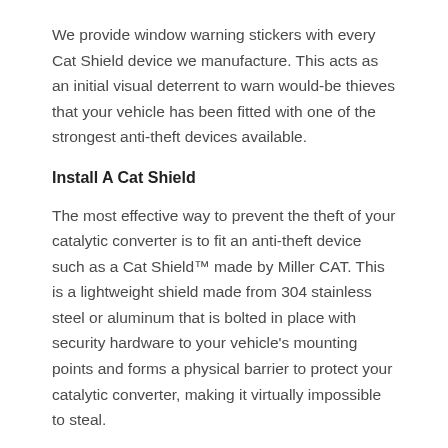We provide window warning stickers with every Cat Shield device we manufacture. This acts as an initial visual deterrent to warn would-be thieves that your vehicle has been fitted with one of the strongest anti-theft devices available.
Install A Cat Shield
The most effective way to prevent the theft of your catalytic converter is to fit an anti-theft device such as a Cat Shield™ made by Miller CAT. This is a lightweight shield made from 304 stainless steel or aluminum that is bolted in place with security hardware to your vehicle's mounting points and forms a physical barrier to protect your catalytic converter, making it virtually impossible to steal.
Want the ultimate in anti-theft protection? Talk to us